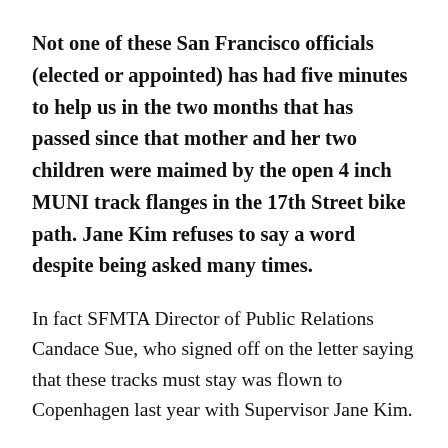Not one of these San Francisco officials (elected or appointed) has had five minutes to help us in the two months that has passed since that mother and her two children were maimed by the open 4 inch MUNI track flanges in the 17th Street bike path. Jane Kim refuses to say a word despite being asked many times.
In fact SFMTA Director of Public Relations Candace Sue, who signed off on the letter saying that these tracks must stay was flown to Copenhagen last year with Supervisor Jane Kim.